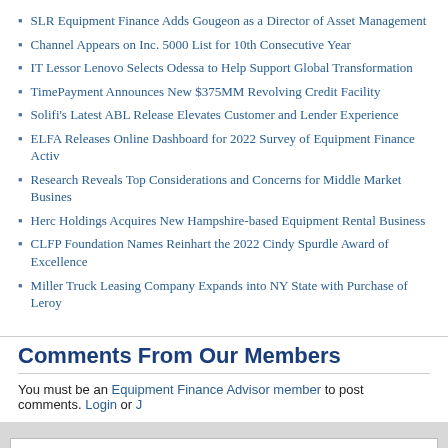SLR Equipment Finance Adds Gougeon as a Director of Asset Management
Channel Appears on Inc. 5000 List for 10th Consecutive Year
IT Lessor Lenovo Selects Odessa to Help Support Global Transformation
TimePayment Announces New $375MM Revolving Credit Facility
Solifi's Latest ABL Release Elevates Customer and Lender Experience
ELFA Releases Online Dashboard for 2022 Survey of Equipment Finance Activ...
Research Reveals Top Considerations and Concerns for Middle Market Busines...
Herc Holdings Acquires New Hampshire-based Equipment Rental Business
CLFP Foundation Names Reinhart the 2022 Cindy Spurdle Award of Excellence...
Miller Truck Leasing Company Expands into NY State with Purchase of Leroy ...
Comments From Our Members
You must be an Equipment Finance Advisor member to post comments. Login or J...
INDUSTRY RESOURCES
[Figure (logo): ELFA MEMBER logo and NEFA logo side by side]